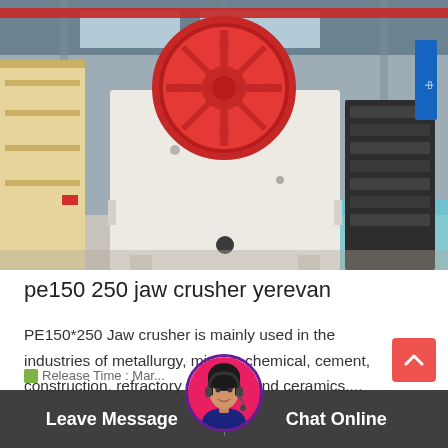[Figure (photo): Industrial jaw crusher machine (PE150x250) displayed in a factory/warehouse setting. The machine is large and cream/white colored with a prominent red flywheel on top. Yellow equipment is visible on the left, stacked black rings/tires on the right, and the factory has high ceilings with skylights.]
pe150 250 jaw crusher yerevan
PE150*250 Jaw crusher is mainly used in the industries of metallurgy, mining, chemical, cement, construction, refractory materials and ceramics,...
Release Time : Mar...
Leave Message   Chat Online